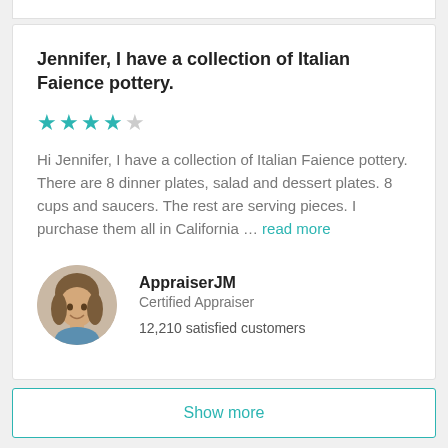Jennifer, I have a collection of Italian Faience pottery.
Hi Jennifer, I have a collection of Italian Faience pottery. There are 8 dinner plates, salad and dessert plates. 8 cups and saucers. The rest are serving pieces. I purchase them all in California … read more
AppraiserJM
Certified Appraiser
12,210 satisfied customers
Show more